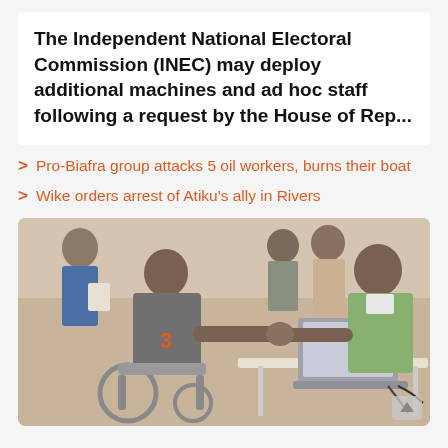The Independent National Electoral Commission (INEC) may deploy additional machines and ad hoc staff following a request by the House of Rep...
Pro-Biafra group attacks 5 oil workers, burns their boat
Wike orders arrest of Atiku's ally in Rivers
[Figure (photo): A person in a wheelchair extending their arm to a man in a green shirt seated behind a laptop at a table, with other people in the background. Appears to be a voter registration or verification exercise.]